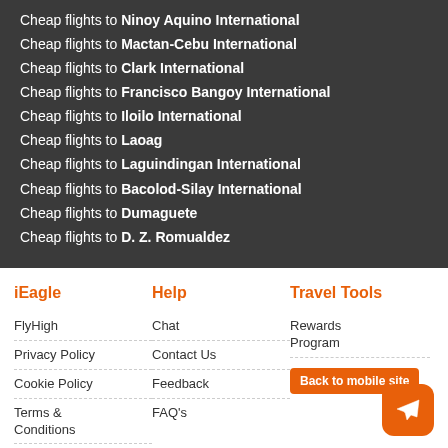Cheap flights to Ninoy Aquino International
Cheap flights to Mactan-Cebu International
Cheap flights to Clark International
Cheap flights to Francisco Bangoy International
Cheap flights to Iloilo International
Cheap flights to Laoag
Cheap flights to Laguindingan International
Cheap flights to Bacolod-Silay International
Cheap flights to Dumaguete
Cheap flights to D. Z. Romualdez
iEagle
Help
Travel Tools
FlyHigh
Privacy Policy
Cookie Policy
Terms & Conditions
Disclaimer
Refund &
Chat
Contact Us
Feedback
FAQ's
Rewards Program
Back to mobile site